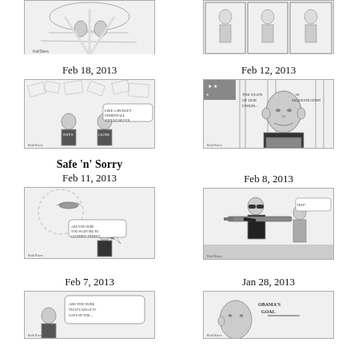[Figure (illustration): Partial political cartoon at top-left, cropped]
[Figure (illustration): Partial political cartoon at top-right, cropped]
Feb 18, 2013
[Figure (illustration): Political cartoon dated Feb 18, 2013 showing figures amid scattered papers with caption about basketball]
Feb 12, 2013
[Figure (illustration): Political cartoon dated Feb 12, 2013 showing Obama at podium with State of the Union / Sequestration text]
Safe 'n' Sorry
Feb 11, 2013
[Figure (illustration): Political cartoon dated Feb 11, 2013 showing drone and person on phone]
Feb 8, 2013
[Figure (illustration): Political cartoon dated Feb 8, 2013 showing man with shotgun]
Feb 7, 2013
[Figure (illustration): Political cartoon dated Feb 7, 2013, partially cropped at bottom]
Jan 28, 2013
[Figure (illustration): Political cartoon dated Jan 28, 2013 showing Obama's goal, partially cropped at bottom]